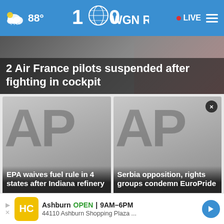88° WGN Radio 100 • LIVE
2 Air France pilots suspended after fighting in cockpit
[Figure (screenshot): AP logo placeholder image for news card 1]
EPA waives fuel rule in 4 states after Indiana refinery ...
[Figure (screenshot): AP logo placeholder image for news card 2]
Serbia opposition, rights groups condemn EuroPride ...
Ashburn  OPEN  9AM–6PM  44110 Ashburn Shopping Plaza ...